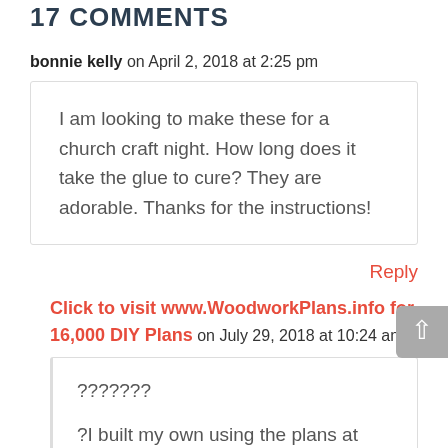17 COMMENTS
bonnie kelly on April 2, 2018 at 2:25 pm
I am looking to make these for a church craft night. How long does it take the glue to cure? They are adorable. Thanks for the instructions!
Reply
Click to visit www.WoodworkPlans.info for 16,000 DIY Plans on July 29, 2018 at 10:24 am
???????
?I built my own using the plans at www. WoodworkPlans.info – highly recommended you check those out too. They are detailed